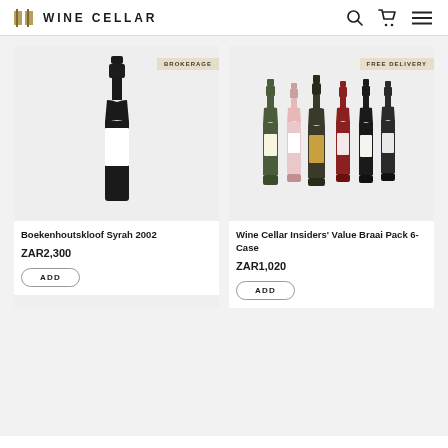WINE CELLAR
[Figure (photo): Single dark wine bottle with white label - Boekenhoutskloof Syrah 2002, with BROKERAGE badge]
Boekenhoutskloof Syrah 2002
ZAR2,300
ADD
[Figure (photo): Six assorted wine bottles grouped together - Wine Cellar Insiders Value Braai Pack 6-Case, with FREE DELIVERY badge]
Wine Cellar Insiders' Value Braai Pack 6-Case
ZAR1,020
ADD